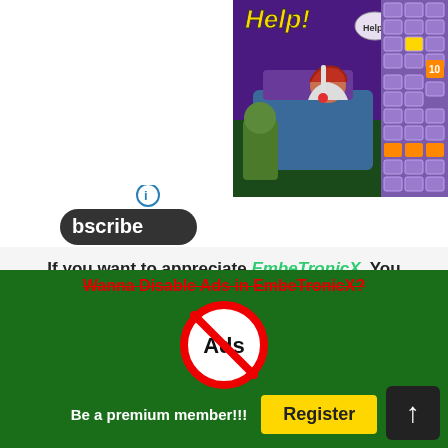[Figure (screenshot): Game advertisement banner showing a zombie/hospital themed mobile game with 'Help!' header text, a sick character in bed, zombie figure, and a grid/puzzle game board on the right side. Purple/dark background.]
[Figure (screenshot): Subscribe button with chevron icon and partial text 'bscribe' on dark rounded pill shape, and a blue info circle icon above it.]
If you want to appreciate EmbeTronicX, You Should Consider:
[Figure (screenshot): Green 'Buy me a Hardware or Coffee' button with coffee cup icon on the left and a white heart/like button showing '0' on the right.]
Wanna Disable Ads in EmbeTronicX?
[Figure (illustration): Red circle with diagonal line (no symbol) over the word 'Ads' — a no-ads icon.]
Be a premium member!!!
[Figure (screenshot): Yellow 'Register' button.]
[Figure (screenshot): Dark scroll-to-top button with upward arrow in bottom right corner.]